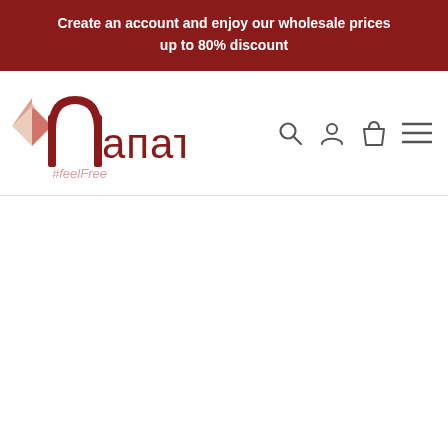Create an account and enjoy our wholesale prices up to 80% discount
[Figure (logo): Napat #feelFree brand logo with stylized archway and geometric pattern in dark red/maroon color]
[Figure (infographic): Navigation bar icons: search magnifier, user account person icon, shopping bag/cart icon, and hamburger menu icon]